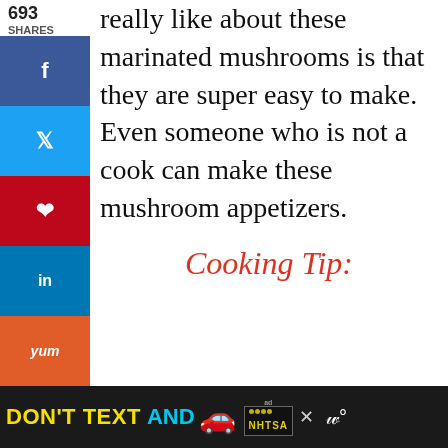really like about these marinated mushrooms is that they are super easy to make. Even someone who is not a cook can make these mushroom appetizers.
693 SHARES
[Figure (infographic): Social media share buttons sidebar: Facebook (blue), Twitter (light blue), Pinterest (red), LinkedIn (blue), Yummly (orange), Flipboard (red), Mix (orange-red), Email (green)]
Cooking Tip:
[dropcap custom_class="normal"] W [/dropcap]hen a savory dish needs a little oomph, try a
[Figure (infographic): Floating action bar with heart icon (770 likes) and share button]
[Figure (infographic): What's Next promo: ? Caprese Stuffed... with food thumbnail]
[Figure (infographic): Ad bar: DON'T TEXT AND [car emoji] NHTSA advertisement with close button]